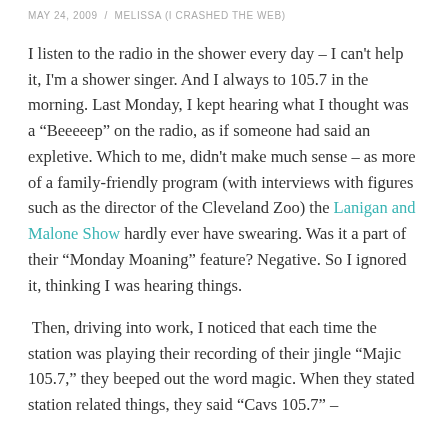MAY 24, 2009 / MELISSA (I CRASHED THE WEB)
I listen to the radio in the shower every day – I can't help it, I'm a shower singer. And I always to 105.7 in the morning. Last Monday, I kept hearing what I thought was a “Beeeeep” on the radio, as if someone had said an expletive. Which to me, didn't make much sense – as more of a family-friendly program (with interviews with figures such as the director of the Cleveland Zoo) the Lanigan and Malone Show hardly ever have swearing. Was it a part of their “Monday Moaning” feature? Negative. So I ignored it, thinking I was hearing things.
Then, driving into work, I noticed that each time the station was playing their recording of their jingle “Majic 105.7,” they beeped out the word magic. When they stated station related things, they said “Cavs 105.7” –